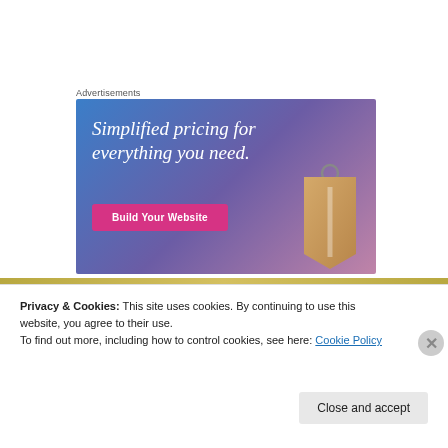Advertisements
[Figure (illustration): Advertisement banner with blue-to-purple gradient background, white italic serif text reading 'Simplified pricing for everything you need.', a pink 'Build Your Website' button, and a tan price tag image on the right side.]
Privacy & Cookies: This site uses cookies. By continuing to use this website, you agree to their use.
To find out more, including how to control cookies, see here: Cookie Policy
Close and accept